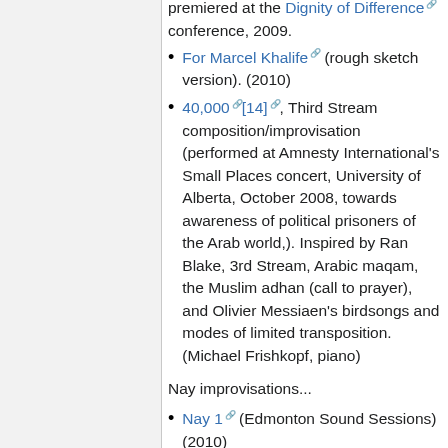premiered at the Dignity of Difference conference, 2009.
For Marcel Khalife (rough sketch version). (2010)
40,000[14], Third Stream composition/improvisation (performed at Amnesty International's Small Places concert, University of Alberta, October 2008, towards awareness of political prisoners of the Arab world,). Inspired by Ran Blake, 3rd Stream, Arabic maqam, the Muslim adhan (call to prayer), and Olivier Messiaen's birdsongs and modes of limited transposition. (Michael Frishkopf, piano)
Nay improvisations...
Nay 1 (Edmonton Sound Sessions) (2010)
Nay 2 (Edmonton Sound Sessions)